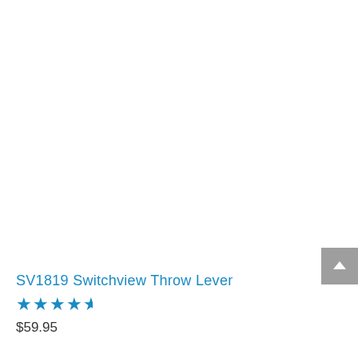[Figure (other): Scroll-to-top button (grey square with white upward chevron arrow)]
SV1819 Switchview Throw Lever
★★★★½
$59.95